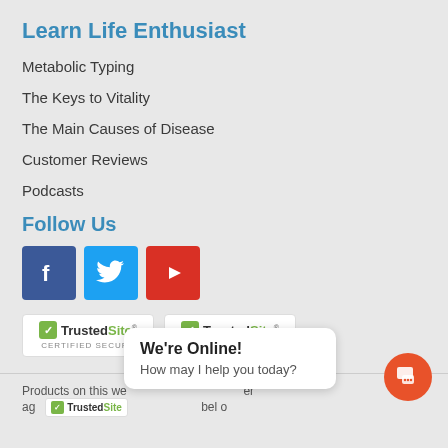Learn Life Enthusiast
Metabolic Typing
The Keys to Vitality
The Main Causes of Disease
Customer Reviews
Podcasts
Follow Us
[Figure (logo): Facebook, Twitter, and YouTube social media icon buttons]
[Figure (logo): Two TrustedSite Certified Secure badges]
We're Online! How may I help you today?
Products on this we... er ag... cs ...bel o...